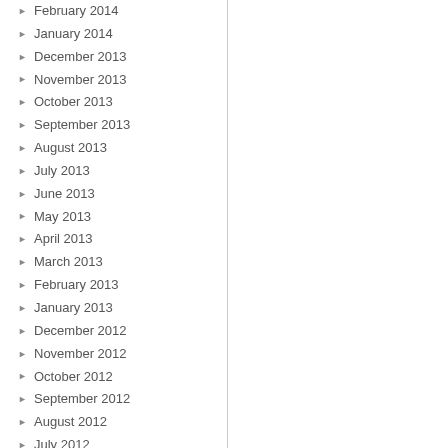February 2014
January 2014
December 2013
November 2013
October 2013
September 2013
August 2013
July 2013
June 2013
May 2013
April 2013
March 2013
February 2013
January 2013
December 2012
November 2012
October 2012
September 2012
August 2012
July 2012
June 2012
May 2012
April 2012
March 2012
February 2012